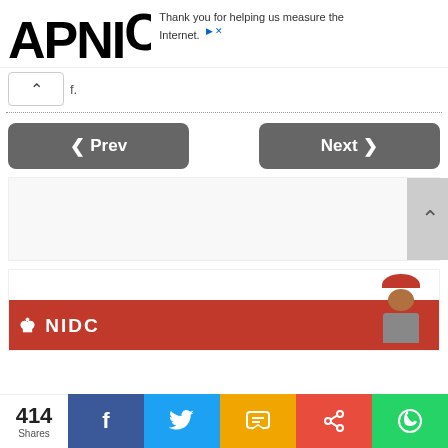APNIC — Thank you for helping us measure the Internet.
f.
[Figure (screenshot): Navigation UI with dotted separator line, Prev and Next buttons, ad area with close X button, scroll-up chevron button, news image with person in red hat, and social share bar showing 414 Shares with Facebook, Twitter, SMS, Share, and WhatsApp icons.]